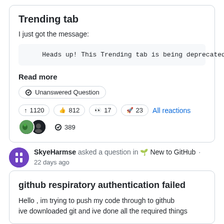Trending tab
I just got the message:
Heads up! This Trending tab is being deprecated.
Read more
Unanswered Question
↑ 1120  812  17  23  All reactions  389
SkyeHarmse asked a question in 🌱 New to GitHub · 22 days ago
github respiratory authentication failed
Hello , im trying to push my code through to github ive downloaded git and ive done all the required things